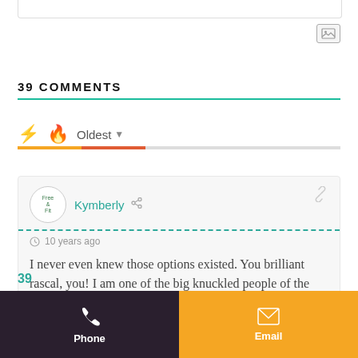[Figure (screenshot): Top portion of a text input box, partially visible]
39 COMMENTS
Oldest
Kymberly · 10 years ago
I never even knew those options existed. You brilliant rascal, you! I am one of the big knuckled people of the world.
39
Phone | Email